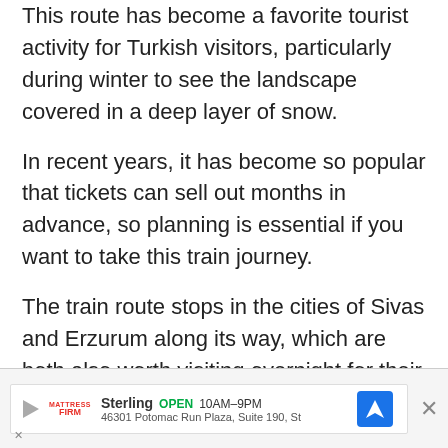This route has become a favorite tourist activity for Turkish visitors, particularly during winter to see the landscape covered in a deep layer of snow.
In recent years, it has become so popular that tickets can sell out months in advance, so planning is essential if you want to take this train journey.
The train route stops in the cities of Sivas and Erzurum along its way, which are both also worth visiting overnight for their historic monuments, if you want to break up your journey. The most scenic section of the train journey is between Sivas and Kars, so it's also worthwhile just taking this easternmost section.